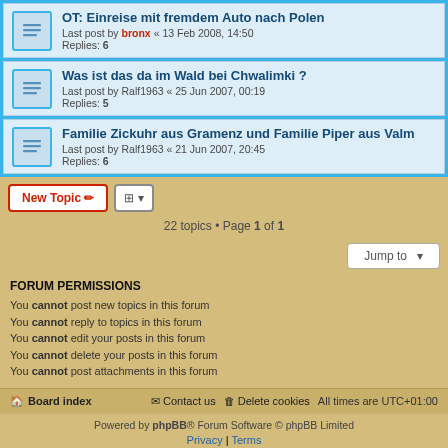OT: Einreise mit fremdem Auto nach Polen
Last post by bronx « 13 Feb 2008, 14:50
Replies: 6
Was ist das da im Wald bei Chwalimki ?
Last post by Ralf1963 « 25 Jun 2007, 00:19
Replies: 5
Familie Zickuhr aus Gramenz und Familie Piper aus Valm
Last post by Ralf1963 « 21 Jun 2007, 20:45
Replies: 6
22 topics • Page 1 of 1
FORUM PERMISSIONS
You cannot post new topics in this forum
You cannot reply to topics in this forum
You cannot edit your posts in this forum
You cannot delete your posts in this forum
You cannot post attachments in this forum
Board index | Contact us | Delete cookies | All times are UTC+01:00
Powered by phpBB® Forum Software © phpBB Limited
Privacy | Terms